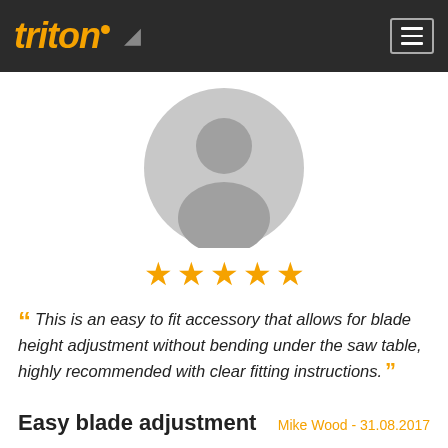triton
[Figure (illustration): Generic user avatar silhouette in a grey circle]
★★★★★ (5 stars)
"This is an easy to fit accessory that allows for blade height adjustment without bending under the saw table, highly recommended with clear fitting instructions."
Easy blade adjustment
Mike Wood - 31.08.2017